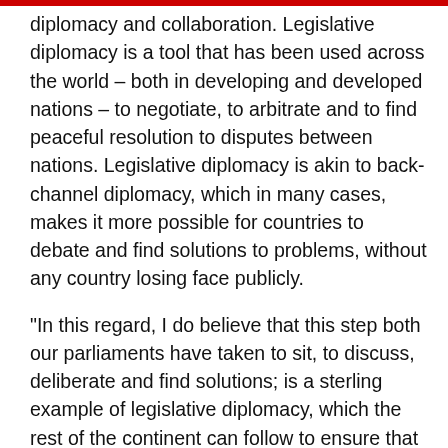diplomacy and collaboration. Legislative diplomacy is a tool that has been used across the world – both in developing and developed nations – to negotiate, to arbitrate and to find peaceful resolution to disputes between nations. Legislative diplomacy is akin to back-channel diplomacy, which in many cases, makes it more possible for countries to debate and find solutions to problems, without any country losing face publicly.
“In this regard, I do believe that this step both our parliaments have taken to sit, to discuss, deliberate and find solutions; is a sterling example of legislative diplomacy, which the rest of the continent can follow to ensure that while the executive arm of government is performing its duties, that we in the legislature can also leverage our knowledge, our experience, the relationships we have amongst ourselves, to complement efforts in finding collective solutions to our shared problems.